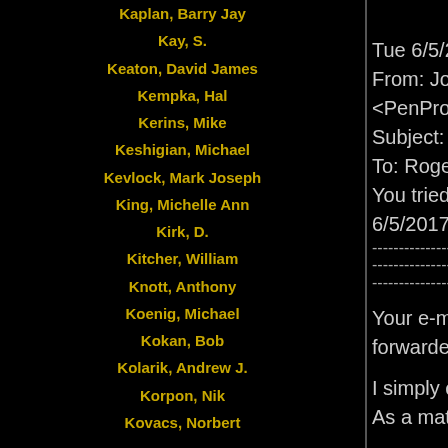Kaplan, Barry Jay
Kay, S.
Keaton, David James
Kempka, Hal
Kerins, Mike
Keshigian, Michael
Kevlock, Mark Joseph
King, Michelle Ann
Kirk, D.
Kitcher, William
Knott, Anthony
Koenig, Michael
Kokan, Bob
Kolarik, Andrew J.
Korpon, Nik
Kovacs, Norbert
***
Tue 6/5/2017 8:02 AM
From: John Pendelton <PenProCEO@yahoo.com>
Subject: REPORT ABUSE
To: Roger DeCastro rdecastro@gmail.c...
You tried to recall this message on Tue 6/5/2017 9:58 AM.
------------------------------------------------------------------------------------------------Mr. DeCastro,
Your e-mail of yesterday afternoon has been forwarded to me as harassing correspon...
I simply cannot subject my staff to such... As a mature adult, you ought to know b...
But because I am the better man, I will... your question: attach the wiring on the...